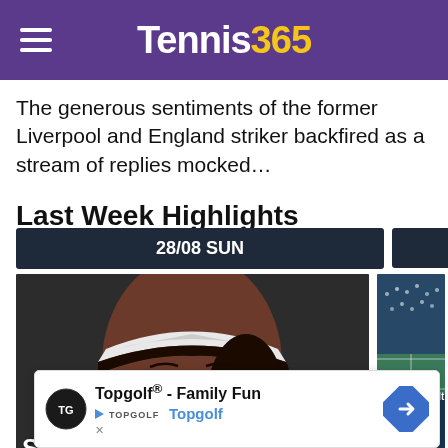Tennis365
The generous sentiments of the former Liverpool and England striker backfired as a stream of replies mocked...
Last Week Highlights
28/08 SUN
[Figure (photo): Close-up photo of a female tennis player wearing a white visor, looking down]
[Figure (photo): Partial image of a tennis stadium with text overlay: Brandon Holt former champ qualifies for U]
Topgolf® - Family Fun Topgolf